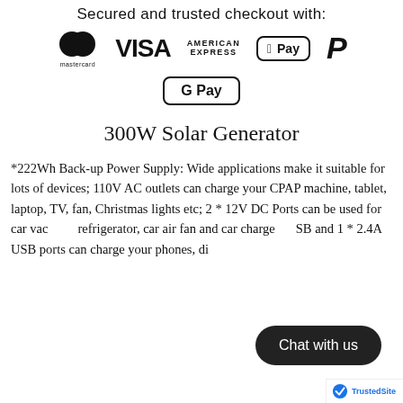Secured and trusted checkout with:
[Figure (logo): Payment method logos: Mastercard, VISA, American Express, Apple Pay, PayPal, Google Pay]
300W Solar Generator
*222Wh Back-up Power Supply: Wide applications make it suitable for lots of devices; 110V AC outlets can charge your CPAP machine, tablet, laptop, TV, fan, Christmas lights etc; 2 * 12V DC Ports can be used for car vac... refrigerator, car air fan and car charge... SB and 1 * 2.4A USB ports can charge your phones, di...